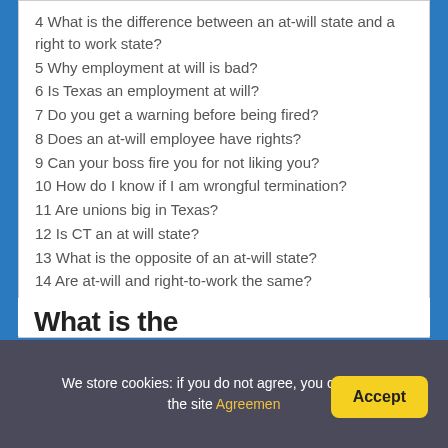4 What is the difference between an at-will state and a right to work state?
5 Why employment at will is bad?
6 Is Texas an employment at will?
7 Do you get a warning before being fired?
8 Does an at-will employee have rights?
9 Can your boss fire you for not liking you?
10 How do I know if I am wrongful termination?
11 Are unions big in Texas?
12 Is CT an at will state?
13 What is the opposite of an at-will state?
14 Are at-will and right-to-work the same?
15 What are the differences between at-will and just cause termination?
We store cookies: if you do not agree, you can close the site Agreemen    Accept